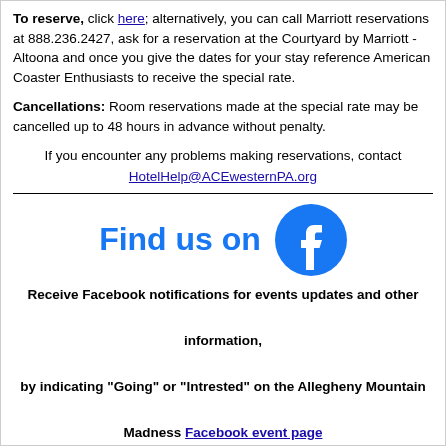To reserve, click here; alternatively, you can call Marriott reservations at 888.236.2427, ask for a reservation at the Courtyard by Marriott - Altoona and once you give the dates for your stay reference American Coaster Enthusiasts to receive the special rate.
Cancellations: Room reservations made at the special rate may be cancelled up to 48 hours in advance without penalty.
If you encounter any problems making reservations, contact HotelHelp@ACEwesternPA.org
[Figure (logo): Find us on Facebook logo — blue bold text 'Find us on' with Facebook circular icon in blue]
Receive Facebook notifications for events updates and other information, by indicating "Going" or "Intrested" on the Allegheny Mountain Madness Facebook event page
Copyright © 2005 - 2022
ACE Western Pennsylvania